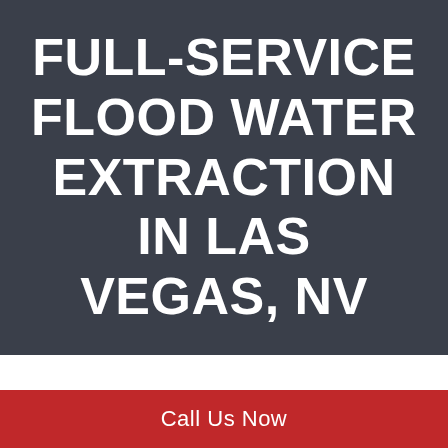FULL-SERVICE FLOOD WATER EXTRACTION IN LAS VEGAS, NV
Call Us Now